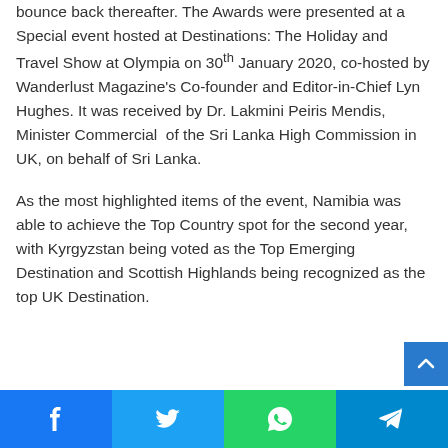bounce back thereafter. The Awards were presented at a Special event hosted at Destinations: The Holiday and Travel Show at Olympia on 30th January 2020, co-hosted by Wanderlust Magazine's Co-founder and Editor-in-Chief Lyn Hughes. It was received by Dr. Lakmini Peiris Mendis, Minister Commercial of the Sri Lanka High Commission in UK, on behalf of Sri Lanka.
As the most highlighted items of the event, Namibia was able to achieve the Top Country spot for the second year, with Kyrgyzstan being voted as the Top Emerging Destination and Scottish Highlands being recognized as the top UK Destination.